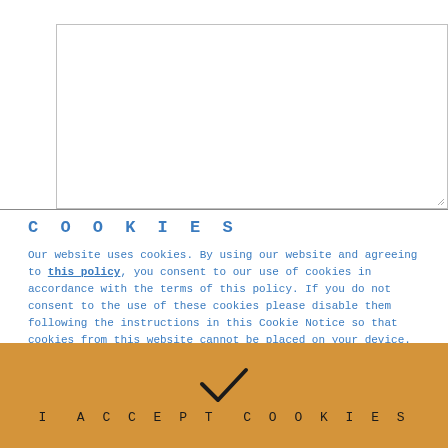[Figure (screenshot): Empty white textarea input box with resize handle in bottom-right corner]
COOKIES
Our website uses cookies. By using our website and agreeing to this policy, you consent to our use of cookies in accordance with the terms of this policy. If you do not consent to the use of these cookies please disable them following the instructions in this Cookie Notice so that cookies from this website cannot be placed on your device.
I ACCEPT COOKIES